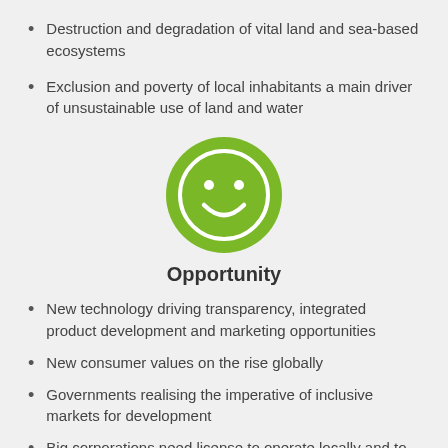Destruction and degradation of vital land and sea-based ecosystems
Exclusion and poverty of local inhabitants a main driver of unsustainable use of land and water
[Figure (illustration): Green circle with white smiley face icon representing opportunity]
Opportunity
New technology driving transparency, integrated product development and marketing opportunities
New consumer values on the rise globally
Governments realising the imperative of inclusive markets for development
Big corporations need license to operate locally and to be good citizens globally